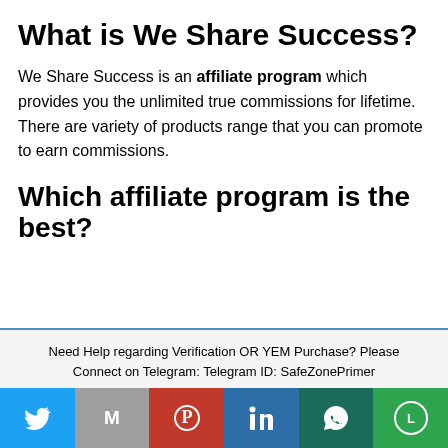What is We Share Success?
We Share Success is an affiliate program which provides you the unlimited true commissions for lifetime. There are variety of products range that you can promote to earn commissions.
Which affiliate program is the best?
Need Help regarding Verification OR YEM Purchase? Please Connect on Telegram: Telegram ID: SafeZonePrimer